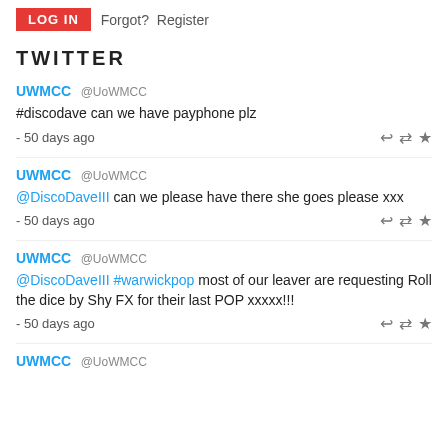LOG IN  Forgot?  Register
TWITTER
UWMCC @UoWMCC
#discodave can we have payphone plz
- 50 days ago
UWMCC @UoWMCC
@DiscoDaveIII can we please have there she goes please xxx
- 50 days ago
UWMCC @UoWMCC
@DiscoDaveIII #warwickpop most of our leaver are requesting Roll the dice by Shy FX for their last POP xxxxx!!!
- 50 days ago
UWMCC @UoWMCC